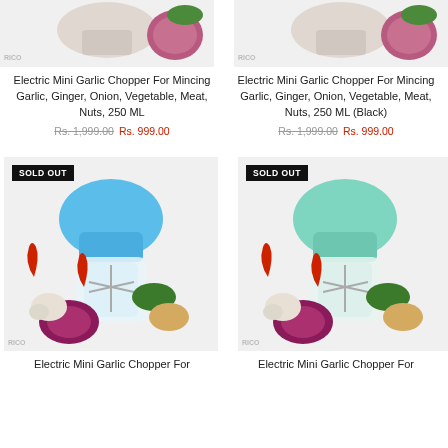[Figure (photo): Electric mini garlic chopper product image, top left, partial view showing top of page]
[Figure (photo): Electric mini garlic chopper product image (with onion), top right, partial view]
Electric Mini Garlic Chopper For Mincing Garlic, Ginger, Onion, Vegetable, Meat, Nuts, 250 ML
Rs. 1,999.00  Rs. 999.00
Electric Mini Garlic Chopper For Mincing Garlic, Ginger, Onion, Vegetable, Meat, Nuts, 250 ML (Black)
Rs. 1,999.00  Rs. 999.00
[Figure (photo): Electric mini garlic chopper in blue with vegetables, SOLD OUT badge, bottom left]
[Figure (photo): Electric mini garlic chopper in mint/green with vegetables, SOLD OUT badge, bottom right]
Electric Mini Garlic Chopper For
Electric Mini Garlic Chopper For